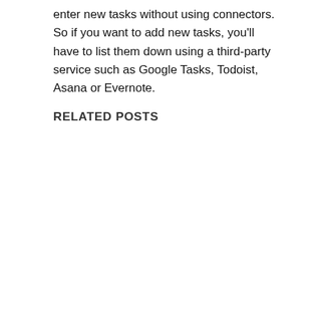enter new tasks without using connectors. So if you want to add new tasks, you'll have to list them down using a third-party service such as Google Tasks, Todoist, Asana or Evernote.
RELATED POSTS